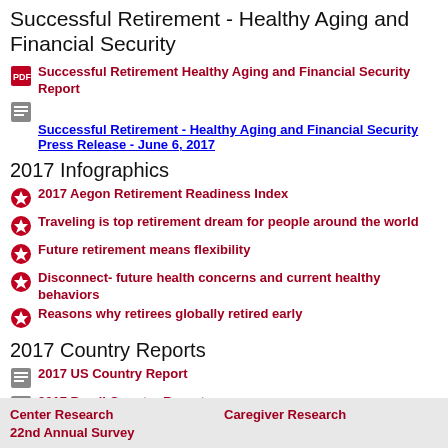Successful Retirement - Healthy Aging and Financial Security
Successful Retirement Healthy Aging and Financial Security Report
Successful Retirement - Healthy Aging and Financial Security Press Release - June 6, 2017
2017 Infographics
2017 Aegon Retirement Readiness Index
Traveling is top retirement dream for people around the world
Future retirement means flexibility
Disconnect- future health concerns and current healthy behaviors
Reasons why retirees globally retired early
2017 Country Reports
2017 US Country Report
2017 Brazil Country Report
2017 Hungary Country Report
Center Research
22nd Annual Survey
Caregiver Research